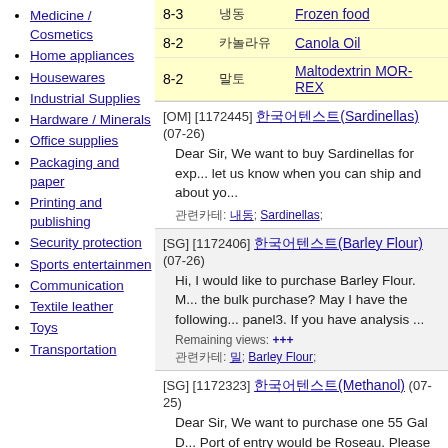Medicine / Cosmetics
Home appliances
Housewares
Industrial Supplies
Hardware / Minerals
Office supplies
Packaging and paper
Printing and publishing
Security protection
Sports entertainmen
Communication
Textile leather
Toys
Transportation
|  |  |  |
| --- | --- | --- |
| 8-3 | 냉동 | Frozen food |
| 8-2 | 카놀라유 | Canola Oil |
| 8-2 | 말토 | Maltodextrin MOR-REX |
[OM] [1172445] 한국어텍스트(Sardinellas) (07-26)
Dear Sir, We want to buy Sardinellas for exp... let us know when you can ship and about yo...
관련카테: 냉동; Sardinellas;
[SG] [1172406] 한국어텍스트(Barley Flour) (07-26)
Hi, I would like to purchase Barley Flour. M... the bulk purchase? May I have the following... panel3. If you have analysis ...
Remaining views: +++
관련카테: 밀; Barley Flour;
[SG] [1172323] 한국어텍스트(Methanol) (07-25)
Dear Sir, We want to purchase one 55 Gal D... Port of entry would be Roseau. Please conta...
관련카테: 밀; Methanol;